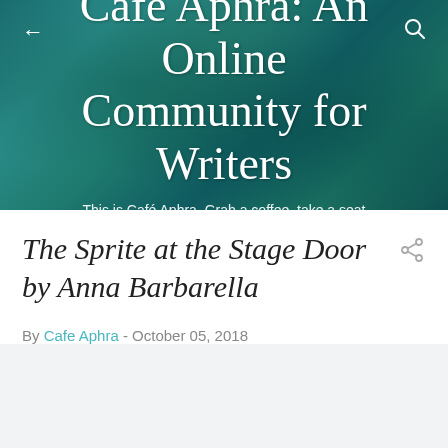[Figure (illustration): Dark teal/green textured background banner with navigation arrows and search icon]
Cafe Aphra: An Online Community for Writers
This is Café Aphra. Grab a coffee, take a seat and join in...
The Sprite at the Stage Door by Anna Barbarella
By Cafe Aphra - October 05, 2018